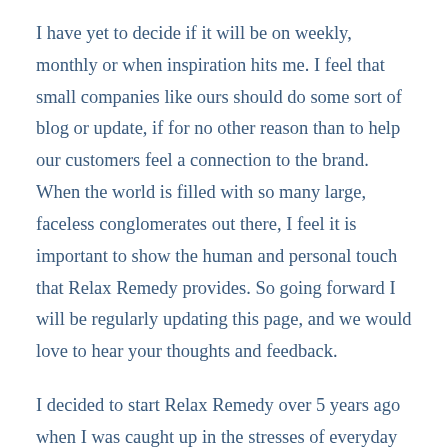I have yet to decide if it will be on weekly, monthly or when inspiration hits me. I feel that small companies like ours should do some sort of blog or update, if for no other reason than to help our customers feel a connection to the brand. When the world is filled with so many large, faceless conglomerates out there, I feel it is important to show the human and personal touch that Relax Remedy provides. So going forward I will be regularly updating this page, and we would love to hear your thoughts and feedback.
I decided to start Relax Remedy over 5 years ago when I was caught up in the stresses of everyday life and found everything so overwhelming. I reached a point where not only did I find it very hard to relax and calm down, but I also realized the lifestyle I was living wasn't the healthiest. I started to look around for